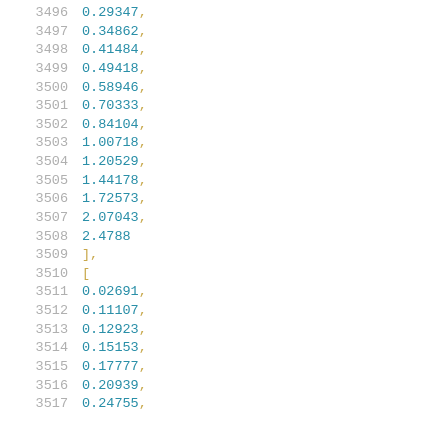3496    0.29347,
3497    0.34862,
3498    0.41484,
3499    0.49418,
3500    0.58946,
3501    0.70333,
3502    0.84104,
3503    1.00718,
3504    1.20529,
3505    1.44178,
3506    1.72573,
3507    2.07043,
3508    2.4788
3509    ],
3510    [
3511    0.02691,
3512    0.11107,
3513    0.12923,
3514    0.15153,
3515    0.17777,
3516    0.20939,
3517    0.24755,